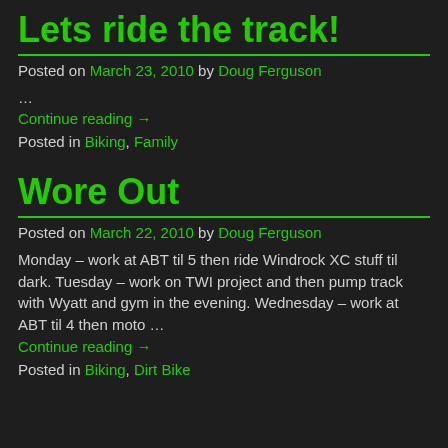Lets ride the track!
Posted on March 23, 2010 by Doug Ferguson
…
Continue reading →
Posted in Biking, Family
Wore Out
Posted on March 22, 2010 by Doug Ferguson
Monday – work at ABT til 5 then ride Windrock XC stuff til dark. Tuesday – work on TWI project and then pump track with Wyatt and gym in the evening. Wednesday – work at ABT til 4 then moto …
Continue reading →
Posted in Biking, Dirt Bike